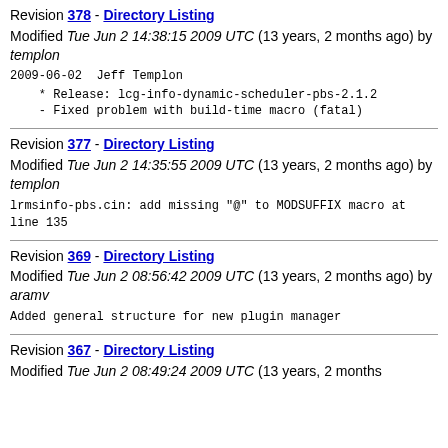Revision 378 - Directory Listing
Modified Tue Jun 2 14:38:15 2009 UTC (13 years, 2 months ago) by templon
2009-06-02  Jeff Templon

    * Release: lcg-info-dynamic-scheduler-pbs-2.1.2
    - Fixed problem with build-time macro (fatal)
Revision 377 - Directory Listing
Modified Tue Jun 2 14:35:55 2009 UTC (13 years, 2 months ago) by templon
lrmsinfo-pbs.cin: add missing "@" to MODSUFFIX macro at line 135
Revision 369 - Directory Listing
Modified Tue Jun 2 08:56:42 2009 UTC (13 years, 2 months ago) by aramv
Added general structure for new plugin manager
Revision 367 - Directory Listing
Modified Tue Jun 2 08:49:24 2009 UTC (13 years, 2 months